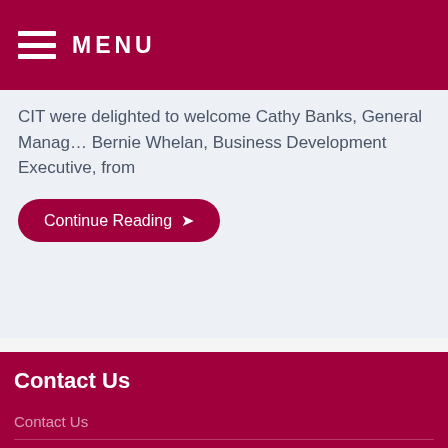MENU
CIT were delighted to welcome Cathy Banks, General Manager Bernie Whelan, Business Development Executive, from
Continue Reading →
Contact Us
Contact Us
Twitter
Extended Campus Newsletter
Subscribe
Services